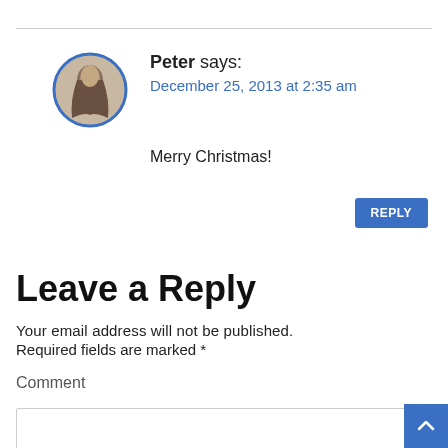[Figure (photo): Circular avatar photo of a person with a blue circular border]
Peter says:
December 25, 2013 at 2:35 am
Merry Christmas!
REPLY
Leave a Reply
Your email address will not be published.
Required fields are marked *
Comment